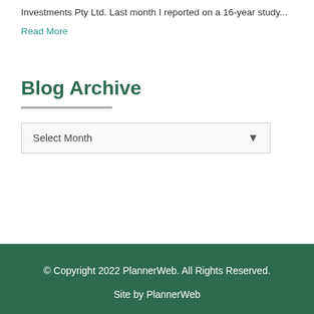Investments Pty Ltd. Last month I reported on a 16-year study...
Read More
Blog Archive
Select Month
© Copyright 2022 PlannerWeb. All Rights Reserved.
Site by PlannerWeb